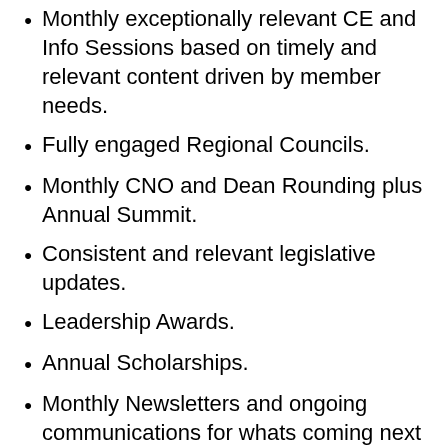Monthly exceptionally relevant CE and Info Sessions based on timely and relevant content driven by member needs.
Fully engaged Regional Councils.
Monthly CNO and Dean Rounding plus Annual Summit.
Consistent and relevant legislative updates.
Leadership Awards.
Annual Scholarships.
Monthly Newsletters and ongoing communications for whats coming next and topics of interest.
Selected engaging content from our Partners and Affiliates to provide relevant and practical information and service.
Tighter integration and shared value with ACNL (California Region) and AONL (National) partnerships to drive more membership value.
No increase to membership costs.